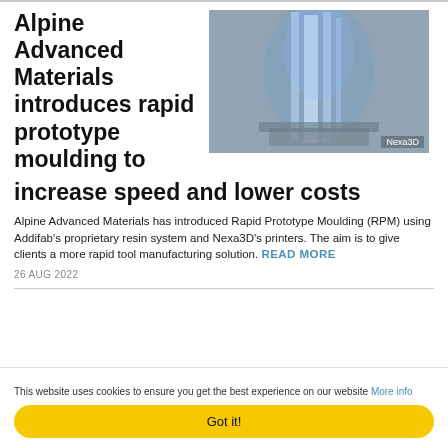Alpine Advanced Materials introduces rapid prototype moulding to increase speed and lower costs
[Figure (photo): Photo of a 3D printer with blue UV light illuminating resin, branded Nexa3D]
Alpine Advanced Materials has introduced Rapid Prototype Moulding (RPM) using Addifab's proprietary resin system and Nexa3D's printers. The aim is to give clients a more rapid tool manufacturing solution. READ MORE
26 AUG 2022
This website uses cookies to ensure you get the best experience on our website More info
Got it!